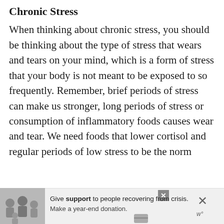Chronic Stress
When thinking about chronic stress, you should be thinking about the type of stress that wears and tears on your mind, which is a form of stress that your body is not meant to be exposed to so frequently. Remember, brief periods of stress can make us stronger, long periods of stress or consumption of inflammatory foods causes wear and tear. We need foods that lower cortisol and regular periods of low stress to be the norm
[Figure (other): Advertisement banner showing a family photo with text: Give support to people recovering from crisis. Make a year-end donation.]